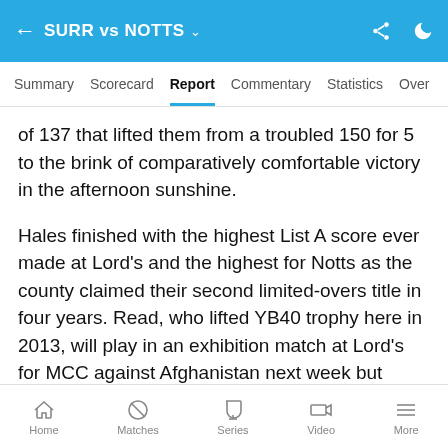SURR vs NOTTS
Summary  Scorecard  Report  Commentary  Statistics  Over
of 137 that lifted them from a troubled 150 for 5 to the brink of comparatively comfortable victory in the afternoon sunshine.
Hales finished with the highest List A score ever made at Lord's and the highest for Notts as the county claimed their second limited-overs title in four years. Read, who lifted YB40 trophy here in 2013, will play in an exhibition match at Lord's for MCC against Afghanistan next week but could not have wished for a better finish on his last visit with Notts.
Home  Matches  Series  Video  More